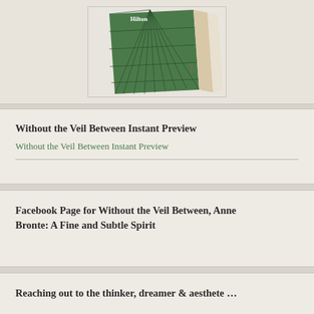[Figure (photo): A book with a green patterned cover (grid/net design) shown at an angle, with visible pages and a light wooden or white spine effect]
Without the Veil Between Instant Preview
Without the Veil Between Instant Preview
Facebook Page for Without the Veil Between, Anne Bronte: A Fine and Subtle Spirit
Reaching out to the thinker, dreamer & aesthete …